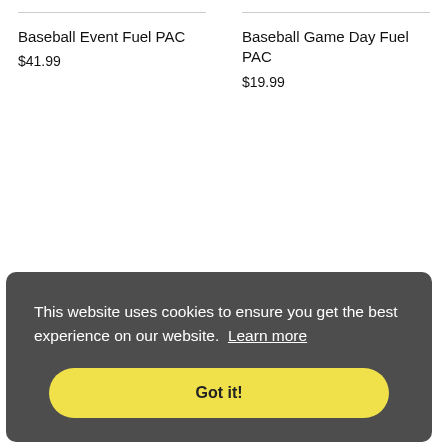Baseball Event Fuel PAC
$41.99
Baseball Game Day Fuel PAC
$19.99
This website uses cookies to ensure you get the best experience on our website. Learn more
Got it!